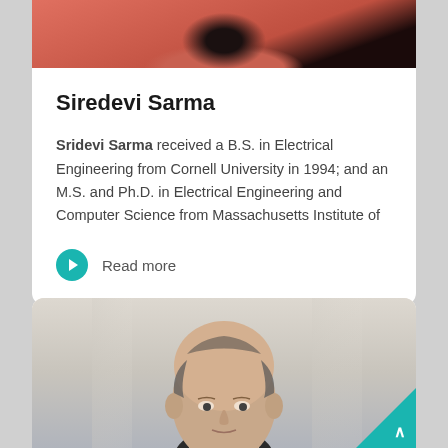[Figure (photo): Partial photo of Siredevi Sarma at top of page, showing hair and colorful scarf/neckwear, cropped at top]
Siredevi Sarma
Sridevi Sarma received a B.S. in Electrical Engineering from Cornell University in 1994; and an M.S. and Ph.D. in Electrical Engineering and Computer Science from Massachusetts Institute of
Read more
[Figure (photo): Photo of a bald man in a suit, partially visible, cropped at bottom of page]